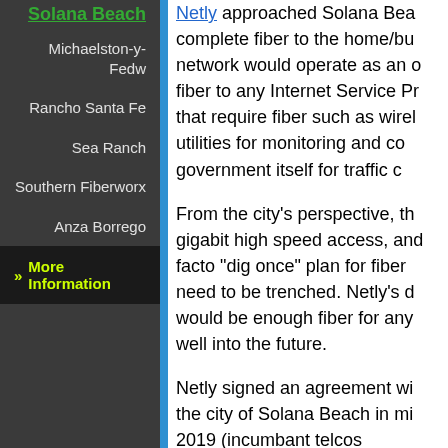Michaelston-y-Fedw
Rancho Santa Fe
Sea Ranch
Southern Fiberworx
Anza Borrego
» More Information
Netly approached Solana Bea... complete fiber to the home/bu... network would operate as an o... fiber to any Internet Service Pr... that require fiber such as wirel... utilities for monitoring and co... government itself for traffic c...
From the city's perspective, th... gigabit high speed access, and... facto "dig once" plan for fiber... need to be trenched. Netly's d... would be enough fiber for any... well into the future.
Netly signed an agreement wi... the city of Solana Beach in mi... 2019 (incumbant telcos opposing) and started construction January 2020. All... borne by Netly. This is costing... signed "tenant" for their netw... will provide symmetric gigabi... $89/month and also offer TV s... be available for the first set o...